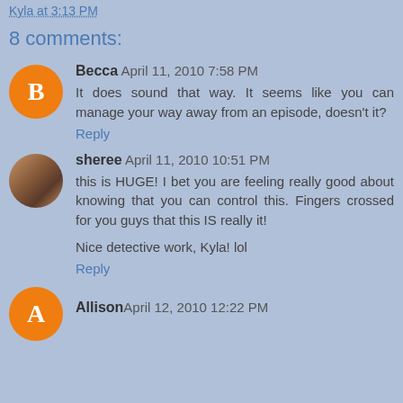Kyla at 3:13 PM
8 comments:
Becca April 11, 2010 7:58 PM
It does sound that way. It seems like you can manage your way away from an episode, doesn't it?
Reply
sheree April 11, 2010 10:51 PM
this is HUGE! I bet you are feeling really good about knowing that you can control this. Fingers crossed for you guys that this IS really it!

Nice detective work, Kyla! lol
Reply
Allison April 12, 2010 12:22 PM